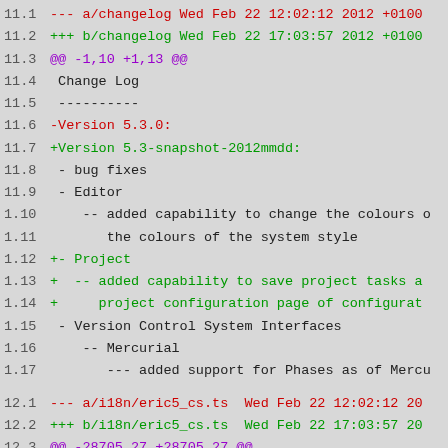11.1  --- a/changelog Wed Feb 22 12:02:12 2012 +0100
11.2  +++ b/changelog Wed Feb 22 17:03:57 2012 +0100
11.3  @@ -1,10 +1,13 @@
11.4   Change Log
11.5   ----------
11.6  -Version 5.3.0:
11.7  +Version 5.3-snapshot-2012mmdd:
11.8   - bug fixes
11.9   - Editor
1.10       -- added capability to change the colours o
1.11          the colours of the system style
1.12  +- Project
1.13  +  -- added capability to save project tasks a
1.14  +     project configuration page of configurat
1.15   - Version Control System Interfaces
1.16      -- Mercurial
1.17         --- added support for Phases as of Mercu
12.1  --- a/i18n/eric5_cs.ts  Wed Feb 22 12:02:12 20
12.2  +++ b/i18n/eric5_cs.ts  Wed Feb 22 17:03:57 20
12.3  @@ -28705,27 +28705,27 @@